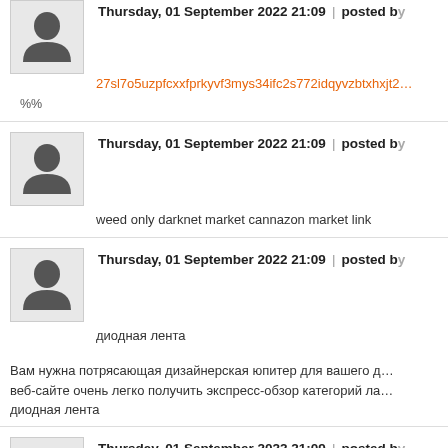Thursday, 01 September 2022 21:09 | posted by
27sl7o5uzpfcxxfprkyvf3mys34ifc2s772idqyvzbtxhxjt...
%%
Thursday, 01 September 2022 21:09 | posted by
weed only darknet market cannazon market link
Thursday, 01 September 2022 21:09 | posted by
диодная лента
Вам нужна потрясающая дизайнерская юпитер для вашего д... веб-сайте очень легко получить экспресс-обзор категорий ла... диодная лента
Thursday, 01 September 2022 21:09 | posted by
darkmarket url reddit onion list
Thursday, 01 September 2022 21:08 | posted by